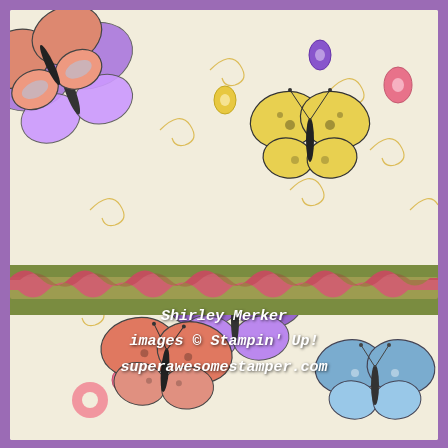[Figure (photo): Close-up photograph of a handmade greeting card featuring colorful butterfly stamps on a cream background with golden swirl patterns and small oval gems. A horizontal olive/sage green cardstock strip crosses the middle of the card, adorned with a wavy/ruffled pink satin ribbon layered over a sheer gold organza ribbon. Several butterflies are visible: purple butterfly in center, yellow butterfly upper right, coral/orange butterfly lower left, blue butterfly lower right, and layered dimensional butterflies in upper left corner. The card has a purple border frame around it.]
Shirley Merker
images © Stampin' Up!
superawesomestamper.com